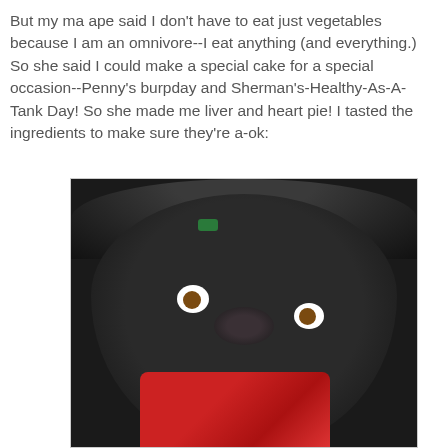But my ma ape said I don't have to eat just vegetables because I am an omnivore--I eat anything (and everything.) So she said I could make a special cake for a special occasion--Penny's burpday and Sherman's-Healthy-As-A-Tank Day! So she made me liver and heart pie! I tasted the ingredients to make sure they're a-ok:
[Figure (photo): Close-up photo of a black dog (appears to be a Pekingese or similar breed) with wide, prominent eyes looking at the camera while chewing on a piece of raw red meat/liver]